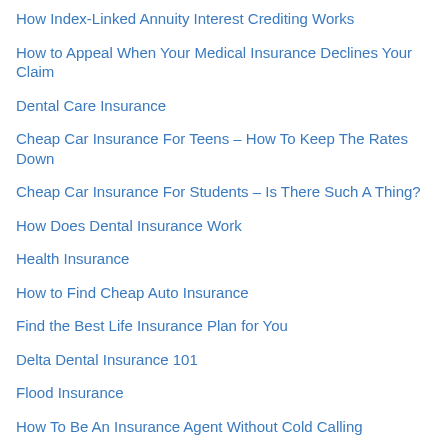How Index-Linked Annuity Interest Crediting Works
How to Appeal When Your Medical Insurance Declines Your Claim
Dental Care Insurance
Cheap Car Insurance For Teens – How To Keep The Rates Down
Cheap Car Insurance For Students – Is There Such A Thing?
How Does Dental Insurance Work
Health Insurance
How to Find Cheap Auto Insurance
Find the Best Life Insurance Plan for You
Delta Dental Insurance 101
Flood Insurance
How To Be An Insurance Agent Without Cold Calling